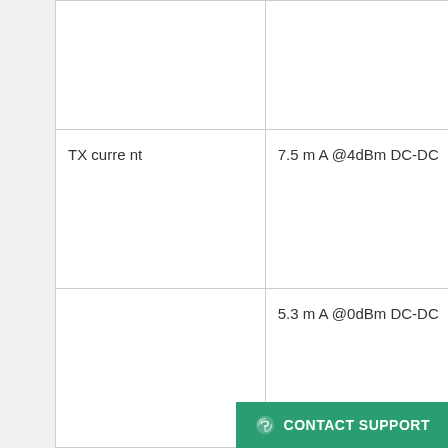|  |  | 1Mbps / 2Mbps for 2.4GHz |
| TX current | 7.5 m A @4dBm DC-DC | 13.6 m A @ 8 dBm DC- DC/ 3V |
|  | 5.3 m A @0dBm DC-DC | 7.3 m A @ 4 dBm DC-DC / 3V |
|  |  | 5.3 m A @ 0 dBm DC-DC/ 3V |